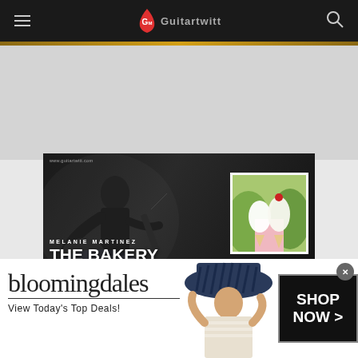Guitartwitt navigation bar with hamburger menu, logo, and search icon
[Figure (screenshot): Hero image for Melanie Martinez The Bakery Chords article with guitarist silhouette and album art overlay. Text: www.guitartwitt.com, MELANIE MARTINEZ, THE BAKERY CHORDS]
Melanie
Ghosts How Can I Move
[Figure (photo): Bloomingdale's advertisement banner: bloomingdales logo, View Today's Top Deals!, model with hat, SHOP NOW >]